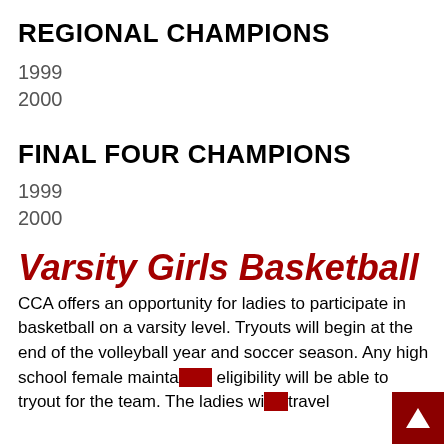REGIONAL CHAMPIONS
1999
2000
FINAL FOUR CHAMPIONS
1999
2000
Varsity Girls Basketball
CCA offers an opportunity for ladies to participate in basketball on a varsity level. Tryouts will begin at the end of the volleyball year and soccer season. Any high school female maintaining eligibility will be able to tryout for the team. The ladies will travel